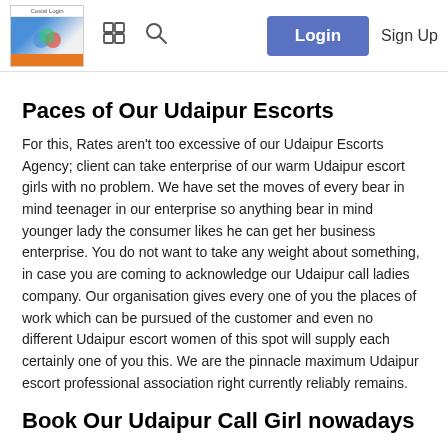Cosial Login | Login | Sign Up
Paces of Our Udaipur Escorts
For this, Rates aren't too excessive of our Udaipur Escorts Agency; client can take enterprise of our warm Udaipur escort girls with no problem. We have set the moves of every bear in mind teenager in our enterprise so anything bear in mind younger lady the consumer likes he can get her business enterprise. You do not want to take any weight about something, in case you are coming to acknowledge our Udaipur call ladies company. Our organisation gives every one of you the places of work which can be pursued of the customer and even no different Udaipur escort women of this spot will supply each certainly one of you this. We are the pinnacle maximum Udaipur escort professional association right currently reliably remains.
Book Our Udaipur Call Girl nowadays